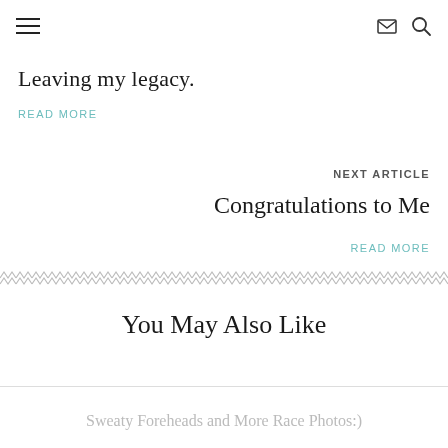[hamburger menu] [envelope icon] [search icon]
Leaving my legacy.
READ MORE
NEXT ARTICLE
Congratulations to Me
READ MORE
[Figure (illustration): Decorative zigzag/chevron pattern divider line]
You May Also Like
Sweaty Foreheads and More Race Photos:)